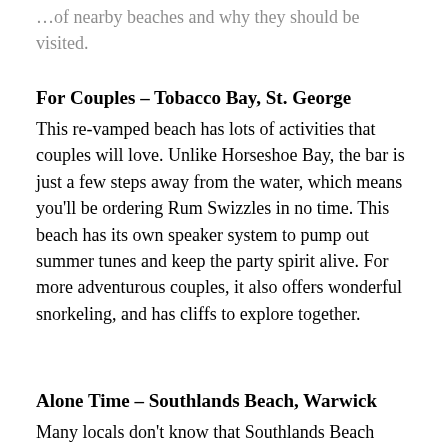…of nearby beaches and why they should be visited.
For Couples – Tobacco Bay, St. George
This re-vamped beach has lots of activities that couples will love. Unlike Horseshoe Bay, the bar is just a few steps away from the water, which means you'll be ordering Rum Swizzles in no time. This beach has its own speaker system to pump out summer tunes and keep the party spirit alive. For more adventurous couples, it also offers wonderful snorkeling, and has cliffs to explore together.
Alone Time – Southlands Beach, Warwick
Many locals don't know that Southlands Beach exists, and to access the beach, you must climb down a series of steep steps cut into the cliff, which discourages most from enjoying it. The high, eroded cliffs provide a sound barrier so that all you can hear are the waves crashing against the shore. Those seeking